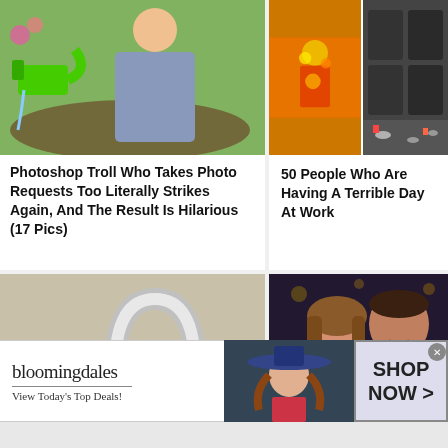[Figure (photo): Woman in gray dress holding green watering can in garden]
[Figure (photo): Person covered in orange and yellow paint]
[Figure (photo): Messy hair salon with debris on floor]
Photoshop Troll Who Takes Photo Requests Too Literally Strikes Again, And The Result Is Hilarious (17 Pics)
50 People Who Are Having A Terrible Day At Work
[Figure (photo): Close-up of silver faucet running water on granite countertop]
[Figure (photo): Smiling couple taking selfie in dark venue]
[Figure (infographic): Bloomingdale's advertisement banner with model in witch hat. Text: bloomingdales, View Today's Top Deals!, SHOP NOW >]